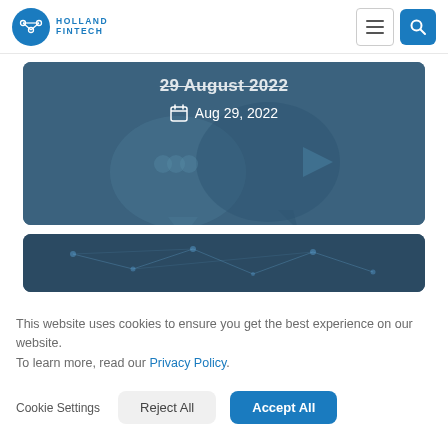Holland Fintech
[Figure (screenshot): Dark blue card with title '29 August 2022' and date 'Aug 29, 2022' with calendar icon, over a blurred chat bubble background]
[Figure (screenshot): Dark blue network/technology background card]
This website uses cookies to ensure you get the best experience on our website.
To learn more, read our Privacy Policy.
Cookie Settings
Reject All
Accept All